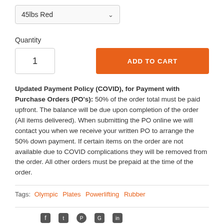45lbs Red
Quantity
1
ADD TO CART
Updated Payment Policy (COVID), for Payment with Purchase Orders (PO's): 50% of the order total must be paid upfront. The balance will be due upon completion of the order (All items delivered). When submitting the PO online we will contact you when we receive your written PO to arrange the 50% down payment. If certain items on the order are not available due to COVID complications they will be removed from the order. All other orders must be prepaid at the time of the order.
Tags: Olympic   Plates   Powerlifting   Rubber